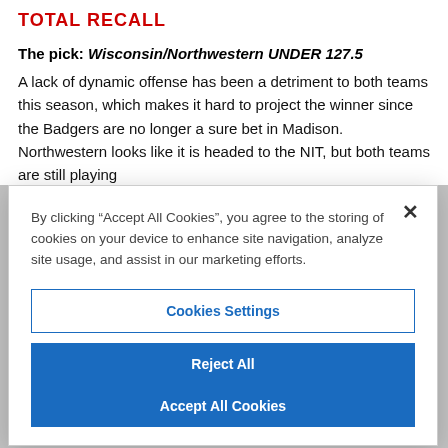TOTAL RECALL
The pick: Wisconsin/Northwestern UNDER 127.5
A lack of dynamic offense has been a detriment to both teams this season, which makes it hard to project the winner since the Badgers are no longer a sure bet in Madison. Northwestern looks like it is headed to the NIT, but both teams are still playing
By clicking “Accept All Cookies”, you agree to the storing of cookies on your device to enhance site navigation, analyze site usage, and assist in our marketing efforts.
Cookies Settings
Reject All
Accept All Cookies